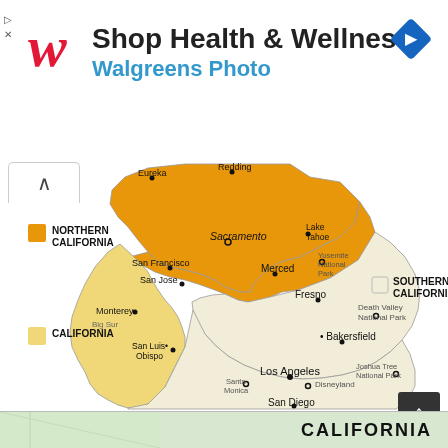[Figure (infographic): Walgreens advertisement banner with red cursive W logo, text 'Shop Health & Wellness' and 'Walgreens Photo' in blue, and a blue diamond navigation icon on the right]
[Figure (map): Map of California divided into three regions: Northern California (orange, top), California (light yellow, coastal central), and Southern California (cream/beige, bottom right). Major cities and landmarks labeled including Sacramento, San Francisco, Los Angeles, San Diego, Fresno, Bakersfield, Merced, Monterey, San Jose, Eureka, Lake Tahoe, Yosemite National Park, Death Valley National Park, Joshua Tree National Park, Santa Monica, Disneyland, San Luis Obispo, Big Sur.]
Measure Splitting California Into Three Makes It To Ballot - California Map With States
[Figure (map): Partial view of a California map at bottom of page with 'CALIFORNIA' text on the right side]